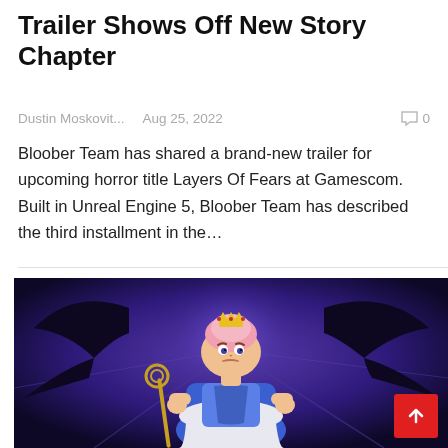Trailer Shows Off New Story Chapter
Dustin Moskovit...   Aug 25, 2022   0
Bloober Team has shared a brand-new trailer for upcoming horror title Layers Of Fears at Gamescom. Built in Unreal Engine 5, Bloober Team has described the third installment in the…
[Figure (illustration): Cartoon illustration of a queen character with pink hair and a crown, wearing a blue dress, holding a golden staff, with dark bat-wing shadows in a purple glowing background.]